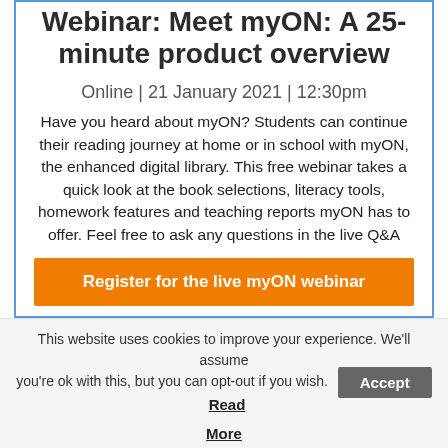Webinar: Meet myON: A 25-minute product overview
Online | 21 January 2021 | 12:30pm
Have you heard about myON? Students can continue their reading journey at home or in school with myON, the enhanced digital library. This free webinar takes a quick look at the book selections, literacy tools, homework features and teaching reports myON has to offer. Feel free to ask any questions in the live Q&A
Register for the live myON webinar
This website uses cookies to improve your experience. We'll assume you're ok with this, but you can opt-out if you wish. Accept Read More